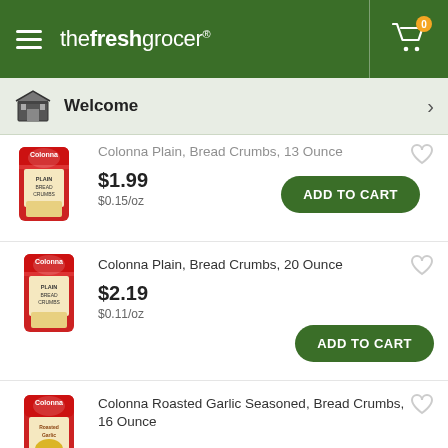thefreshgrocer
Welcome
Colonna Plain, Bread Crumbs, 13 Ounce
$1.99
$0.15/oz
Colonna Plain, Bread Crumbs, 20 Ounce
$2.19
$0.11/oz
Colonna Roasted Garlic Seasoned, Bread Crumbs, 16 Ounce